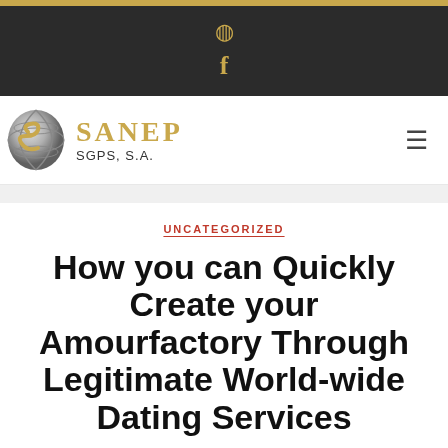Instagram icon | Facebook icon
[Figure (logo): SANEP SGPS, S.A. logo with globe icon on the left and gold serif text SANEP with subtitle SGPS, S.A.]
UNCATEGORIZED
How you can Quickly Create your Amourfactory Through Legitimate World-wide Dating Services